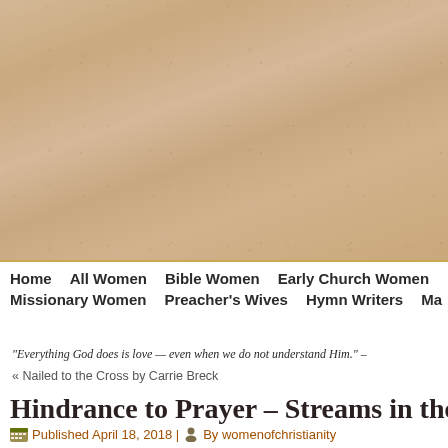[Figure (photo): Textured warm tan/beige background resembling aged paper or parchment, with speckled noise and gradients suggesting an old document or natural material.]
Home | All Women | Bible Women | Early Church Women | Missionary Women | Preacher's Wives | Hymn Writers | Ma
“Everything God does is love — even when we do not understand Him.” –
« Nailed to the Cross by Carrie Breck
Hindrance to Prayer – Streams in the D
Published April 18, 2018 | By womenofchristianity